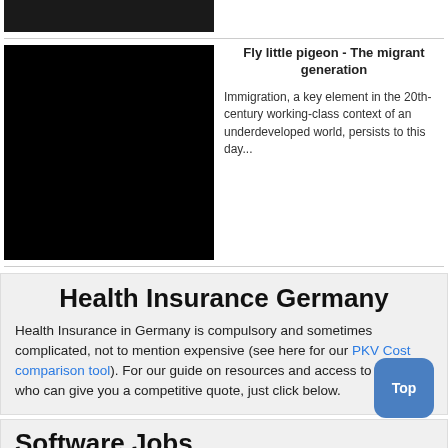[Figure (photo): Dark/black image thumbnail at top, partially visible]
[Figure (photo): Mostly black image thumbnail for 'Fly little pigeon' article]
Fly little pigeon - The migrant generation
Immigration, a key element in the 20th-century working-class context of an underdeveloped world, persists to this day...
Health Insurance Germany
Health Insurance in Germany is compulsory and sometimes complicated, not to mention expensive (see here for our PKV Cost comparison tool). For our guide on resources and access to agents who can give you a competitive quote, just click below.
Software Jobs
More software Jobs in Ge...